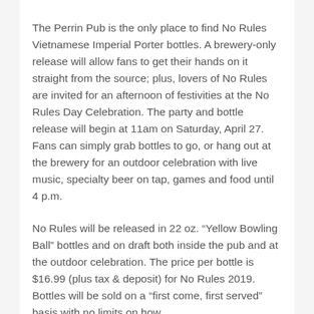The Perrin Pub is the only place to find No Rules Vietnamese Imperial Porter bottles. A brewery-only release will allow fans to get their hands on it straight from the source; plus, lovers of No Rules are invited for an afternoon of festivities at the No Rules Day Celebration. The party and bottle release will begin at 11am on Saturday, April 27. Fans can simply grab bottles to go, or hang out at the brewery for an outdoor celebration with live music, specialty beer on tap, games and food until 4 p.m.
No Rules will be released in 22 oz. “Yellow Bowling Ball” bottles and on draft both inside the pub and at the outdoor celebration. The price per bottle is $16.99 (plus tax & deposit) for No Rules 2019. Bottles will be sold on a “first come, first served” basis with no limits on how